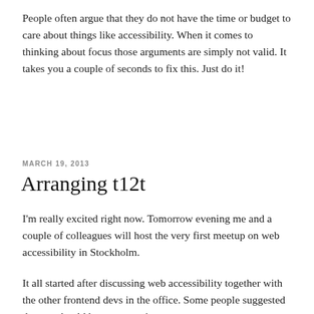People often argue that they do not have the time or budget to care about things like accessibility. When it comes to thinking about focus those arguments are simply not valid. It takes you a couple of seconds to fix this. Just do it!
MARCH 19, 2013
Arranging t12t
I'm really excited right now. Tomorrow evening me and a couple of colleagues will host the very first meetup on web accessibility in Stockholm.
It all started after discussing web accessibility together with the other frontend devs in the office. Some people suggested that we should have an evening were we